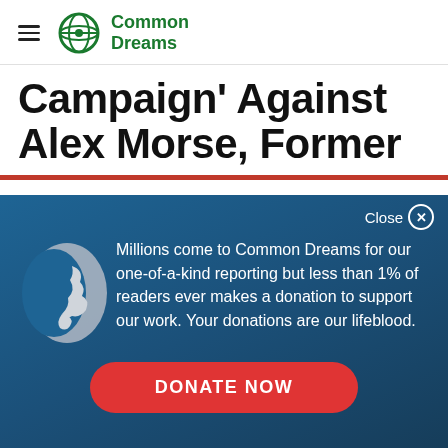Common Dreams
Campaign' Against Alex Morse, Former
Millions come to Common Dreams for our one-of-a-kind reporting but less than 1% of readers ever makes a donation to support our work. Your donations are our lifeblood.
DONATE NOW